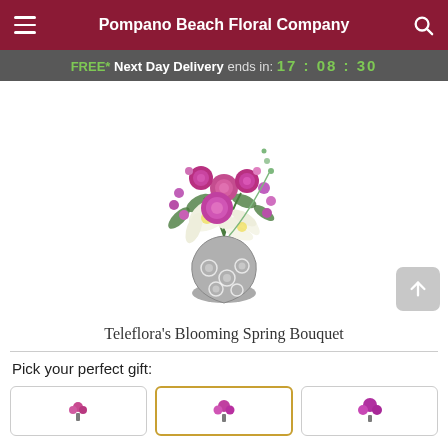Pompano Beach Floral Company
FREE* Next Day Delivery ends in: 17:08:30
[Figure (photo): A floral bouquet featuring pink and purple roses, white lilies, and assorted spring flowers arranged in a decorative grey vase with circular patterns.]
Teleflora's Blooming Spring Bouquet
Pick your perfect gift:
[Figure (illustration): Three gift option selector boxes, the middle one highlighted with a gold/yellow border, each showing a small flower arrangement icon.]